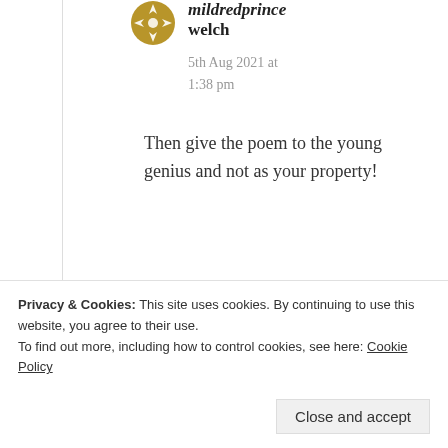[Figure (illustration): Golden/olive colored avatar icon with a globe/compass rose symbol]
mildredprince welch
5th Aug 2021 at 1:38 pm
Then give the poem to the young genius and not as your property!
★ Liked by 2 people
Privacy & Cookies: This site uses cookies. By continuing to use this website, you agree to their use.
To find out more, including how to control cookies, see here: Cookie Policy
Close and accept